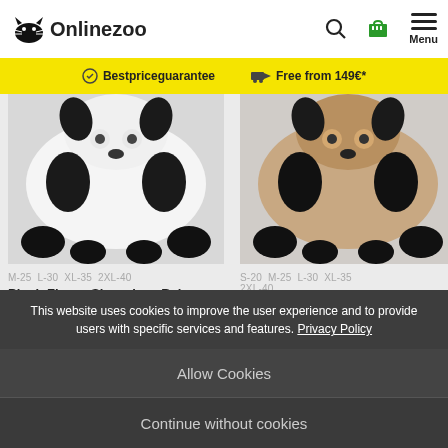Onlinezoo — Search, Cart, Menu
Bestpriceguarantee   Free from 149€*
[Figure (photo): Product image of Plush Fleece Sleeveless Beige Dog Vest Pluto — a white and black plush dog toy/vest]
M-25 L-30 XL-35 2XL-40
Plush Fleece Sleeveless Beige Dog Vest Pluto
[Figure (photo): Product image of Plush Fleece Sleeveless Khaki Dog Vest Strolch — a brown and black plush dog toy/vest]
S-20 M-25 L-30 XL-35 2XL-40
Plush Fleece Sleeveless Khaki Dog Vest Strolch
This website uses cookies to improve the user experience and to provide users with specific services and features. Privacy Policy
Allow Cookies
Continue without cookies